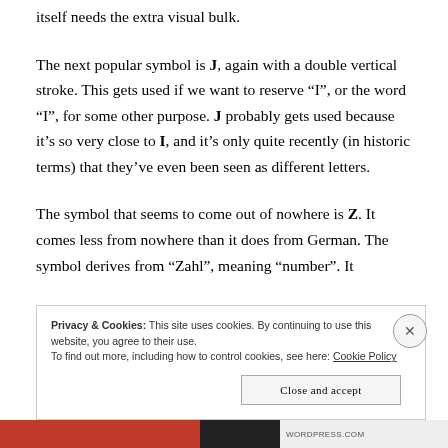itself needs the extra visual bulk.
The next popular symbol is J, again with a double vertical stroke. This gets used if we want to reserve “I”, or the word “I”, for some other purpose. J probably gets used because it’s so very close to I, and it’s only quite recently (in historic terms) that they’ve even been seen as different letters.
The symbol that seems to come out of nowhere is Z. It comes less from nowhere than it does from German. The symbol derives from “Zahl”, meaning “number”. It
Privacy & Cookies: This site uses cookies. By continuing to use this website, you agree to their use.
To find out more, including how to control cookies, see here: Cookie Policy
Close and accept